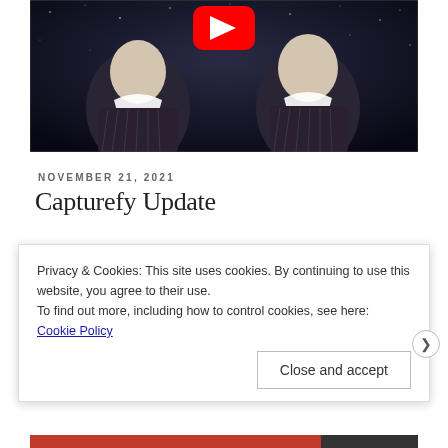[Figure (screenshot): YouTube video thumbnail showing two women in matching dark pinstripe dresses with white collars against a dark starry background, with a YouTube play button visible at the top center]
NOVEMBER 21, 2021
Capturefy Update
Privacy & Cookies: This site uses cookies. By continuing to use this website, you agree to their use.
To find out more, including how to control cookies, see here: Cookie Policy
Close and accept